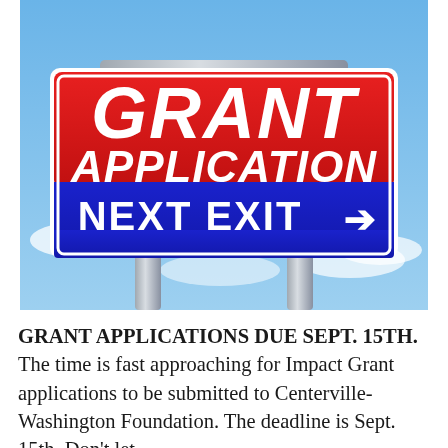[Figure (photo): A highway-style sign reading 'GRANT APPLICATION' in large white text on a red background, with 'NEXT EXIT' and an arrow pointing right on a blue background below. The sign is mounted on two metal poles against a blue sky with clouds.]
GRANT APPLICATIONS DUE SEPT. 15TH. The time is fast approaching for Impact Grant applications to be submitted to Centerville-Washington Foundation. The deadline is Sept. 15th. Don't let...